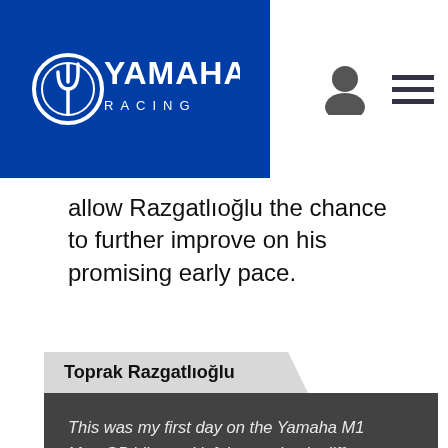Yamaha Racing
allow Razgatlıoğlu the chance to further improve on his promising early pace.
Toprak Razgatlıoğlu
This was my first day on the Yamaha M1 MotoGP bike and it felt completely different to my R1. More horsepower, different electronics, seamless gearbox, all of which is completely new for me.  With every lap I learned more, because after the world superbike it's not so easy to adapt to the MotoGP machine. Fortunately, I had Cal Crutchlow on hand to offer advice and he was